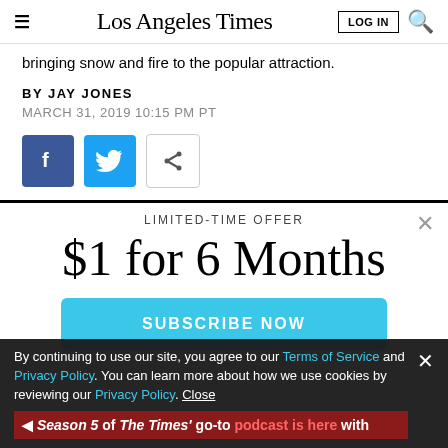Los Angeles Times | LOG IN
bringing snow and fire to the popular attraction.
BY JAY JONES
MARCH 31, 2019 10:15 PM PT
[Figure (screenshot): Social share buttons: Facebook, Twitter, and share icon]
LIMITED-TIME OFFER
$1 for 6 Months
SUBSCRIBE NOW
By continuing to use our site, you agree to our Terms of Service and Privacy Policy. You can learn more about how we use cookies by reviewing our Privacy Policy. Close
Season 5 of The Times' go-to podcast is here with